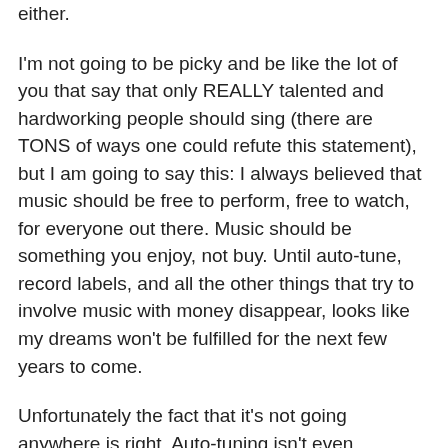either.
I'm not going to be picky and be like the lot of you that say that only REALLY talented and hardworking people should sing (there are TONS of ways one could refute this statement), but I am going to say this: I always believed that music should be free to perform, free to watch, for everyone out there. Music should be something you enjoy, not buy. Until auto-tune, record labels, and all the other things that try to involve music with money disappear, looks like my dreams won't be fulfilled for the next few years to come.
Unfortunately the fact that it's not going anywhere is right. Auto-tuning isn't even